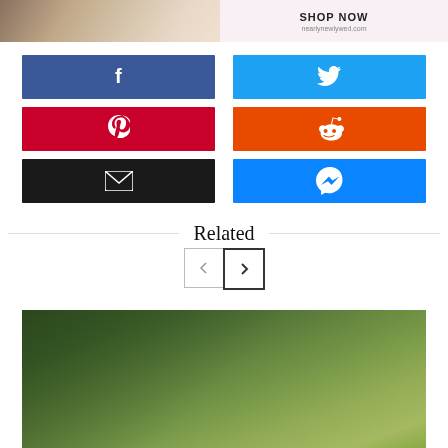[Figure (photo): Top banner with wedding photo on left and 'SHOP NOW / nearlynewlywed.com' text on right pink background]
[Figure (infographic): Social sharing buttons: Facebook (blue), Twitter (blue), Pinterest (red), Reddit (orange), Email (black), Messenger (blue) — 2-column grid layout]
Related
[Figure (other): Navigation prev/next arrow buttons, left arrow inactive, right arrow with bold border]
[Figure (photo): Blurred green foliage/nature photo at bottom]